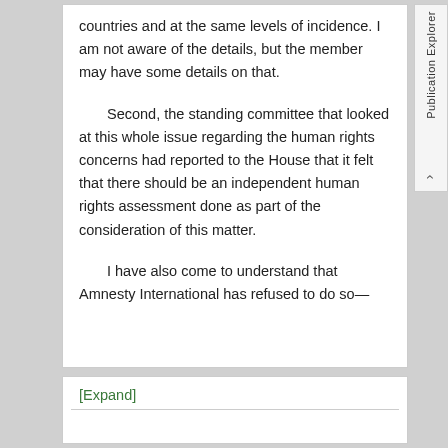countries and at the same levels of incidence. I am not aware of the details, but the member may have some details on that.
Second, the standing committee that looked at this whole issue regarding the human rights concerns had reported to the House that it felt that there should be an independent human rights assessment done as part of the consideration of this matter.
I have also come to understand that Amnesty International has refused to do so—
[Expand]